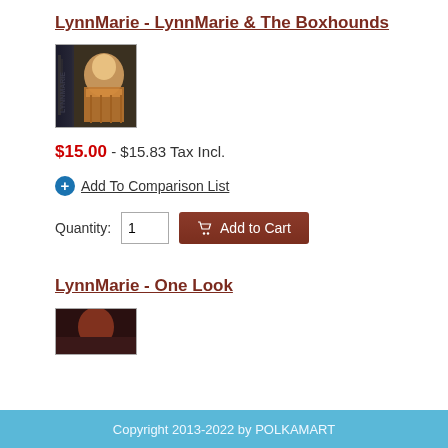LynnMarie - LynnMarie & The Boxhounds
[Figure (photo): Album cover for LynnMarie & The Boxhounds showing a woman in a tan/brown jacket with text LYNNMARIE on the left side]
$15.00 - $15.83 Tax Incl.
+ Add To Comparison List
Quantity: 1  Add to Cart
LynnMarie - One Look
[Figure (photo): Partial album cover for LynnMarie - One Look showing a reddish-toned image]
Copyright 2013-2022 by POLKAMART